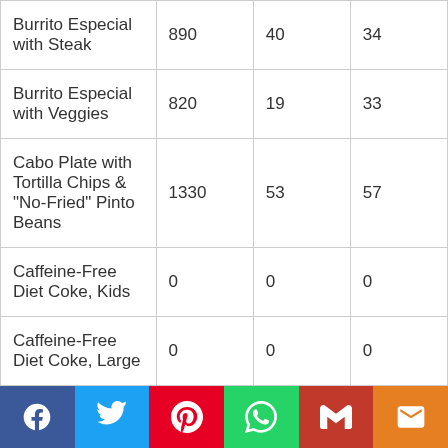| Burrito Especial with Steak | 890 | 40 | 34 |
| Burrito Especial with Veggies | 820 | 19 | 33 |
| Cabo Plate with Tortilla Chips & "No-Fried" Pinto Beans | 1330 | 53 | 57 |
| Caffeine-Free Diet Coke, Kids | 0 | 0 | 0 |
| Caffeine-Free Diet Coke, Large | 0 | 0 | 0 |